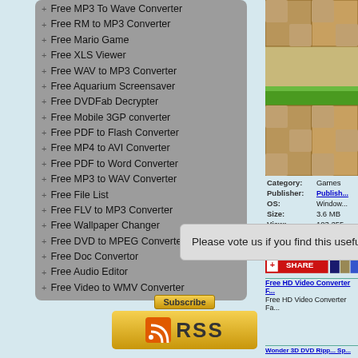+ Free MP3 To Wave Converter
+ Free RM to MP3 Converter
+ Free Mario Game
+ Free XLS Viewer
+ Free WAV to MP3 Converter
+ Free Aquarium Screensaver
+ Free DVDFab Decrypter
+ Free Mobile 3GP converter
+ Free PDF to Flash Converter
+ Free MP4 to AVI Converter
+ Free PDF to Word Converter
+ Free MP3 to WAV Converter
+ Free File List
+ Free FLV to MP3 Converter
+ Free Wallpaper Changer
+ Free DVD to MPEG Converter
+ Free Doc Convertor
+ Free Audio Editor
+ Free Video to WMV Converter
[Figure (screenshot): RSS Subscribe badge with orange background and RSS icon]
[Figure (screenshot): Game screenshot showing tile-based graphics with brown and green tiles]
| Field | Value |
| --- | --- |
| Category: | Games |
| Publisher: | Publisher... |
| OS: | Window... |
| Size: | 3.6 MB |
| View: | 103,255 |
[Figure (screenshot): Share bar with red SHARE button and social icons]
Free HD Video Converter F...
Free HD Video Converter Fa...
Please vote us if you find this useful.